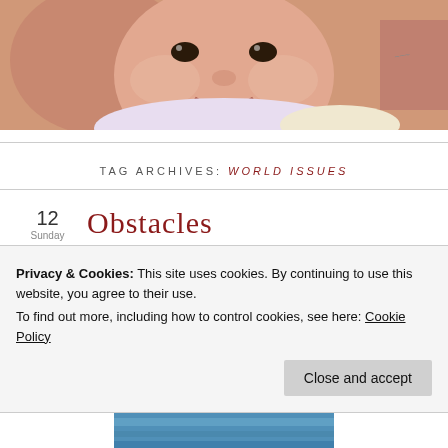[Figure (photo): Close-up photo of a baby/toddler smiling, with an adult partially visible behind them. A tattoo is visible on the right side. Baby is wearing a light-colored floral outfit.]
TAG ARCHIVES: WORLD ISSUES
12
Sunday
Obstacles
Privacy & Cookies: This site uses cookies. By continuing to use this website, you agree to their use.
To find out more, including how to control cookies, see here: Cookie Policy
Close and accept
[Figure (photo): Partial blue sky or water image visible at the bottom of the page.]